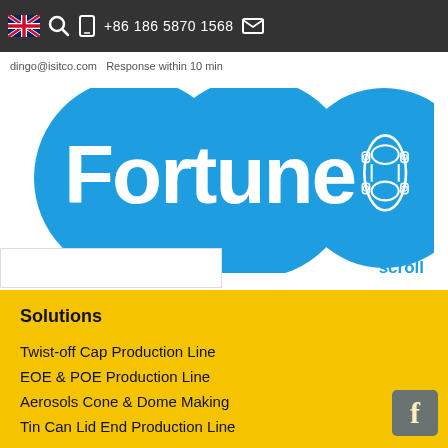+86 186 5870 1568  dingo@isitco.com  Response within 10 min
[Figure (logo): Fortune brand logo with blue circles and white text reading 'Fortune', with a top-view car icon in a blue circle on the right. Text 'scroll' partially visible.]
Solutions
Twist-off Cap Production Line
EOE & POE Production Line
Aerosols Cone & Dome Making
Tin Can Lid End Production Line